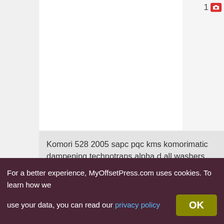[Figure (screenshot): Product listing card for Komori 528 2005 with image placeholder showing 1 photo count, description text, Go button, and Western Europe region label]
Komori 528 2005 sapc pqc kms komorimatic dampening technotrans alpha d all washers weko powder...
Go !
Western Europe
Ref : 5921  -  2022-08-04
KOMORI 528C
For a better experience, MyOffsetPress.com uses cookies. To learn how we use your data, you can read our privacy policy